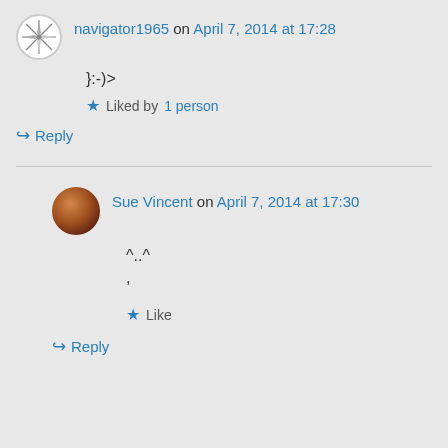navigator1965 on April 7, 2014 at 17:28
}:-)>
Liked by 1 person
↳ Reply
Sue Vincent on April 7, 2014 at 17:30
^..^
,
Like
↳ Reply